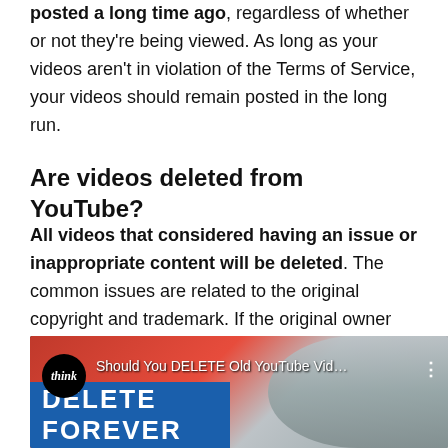posted a long time ago, regardless of whether or not they're being viewed. As long as your videos aren't in violation of the Terms of Service, your videos should remain posted in the long run.
Are videos deleted from YouTube?
All videos that considered having an issue or inappropriate content will be deleted. The common issues are related to the original copyright and trademark. If the original owner sent YouTube a “complete legal request” to take down a video, then it will be taken down.
[Figure (screenshot): YouTube video thumbnail showing 'Should You DELETE Old YouTube Vid...' from the 'think' channel, with a 'DELETE FOREVER' banner and a person's face in the background.]